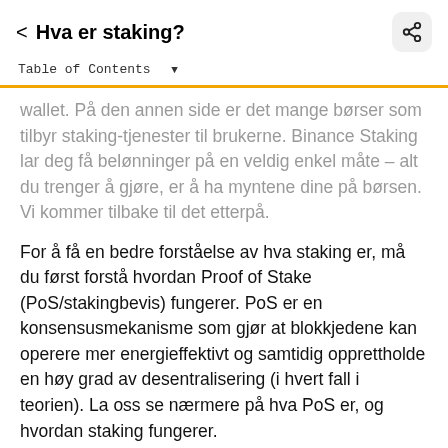Hva er staking?
wallet. På den annen side er det mange børser som tilbyr staking-tjenester til brukerne. Binance Staking lar deg få belønninger på en veldig enkel måte – alt du trenger å gjøre, er å ha myntene dine på børsen. Vi kommer tilbake til det etterpå.
For å få en bedre forståelse av hva staking er, må du først forstå hvordan Proof of Stake (PoS/stakingbevis) fungerer. PoS er en konsensusmekanisme som gjør at blokkjedene kan operere mer energieffektivt og samtidig opprettholde en høy grad av desentralisering (i hvert fall i teorien). La oss se nærmere på hva PoS er, og hvordan staking fungerer.